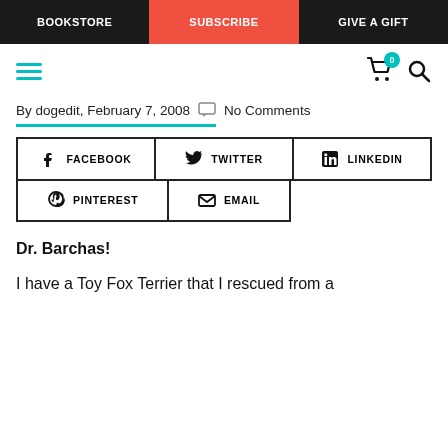BOOKSTORE | SUBSCRIBE | GIVE A GIFT
By dogedit, February 7, 2008  No Comments
[Figure (other): Share buttons: Facebook, Twitter, LinkedIn, Pinterest, Email]
Dr. Barchas!
I have a Toy Fox Terrier that I rescued from a